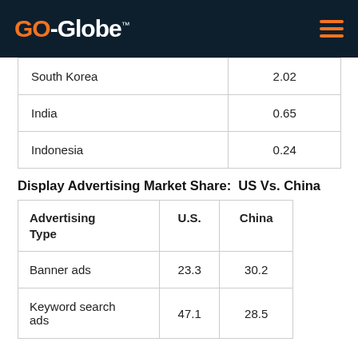GO-Globe
| Country | Value |
| --- | --- |
| South Korea | 2.02 |
| India | 0.65 |
| Indonesia | 0.24 |
Display Advertising Market Share:  US Vs. China
| Advertising Type | U.S. | China |
| --- | --- | --- |
| Banner ads | 23.3 | 30.2 |
| Keyword search ads | 47.1 | 28.5 |